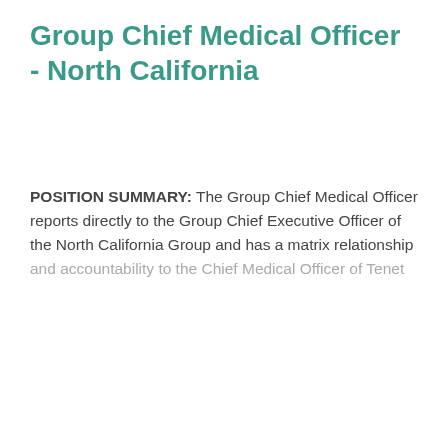Group Chief Medical Officer - North California
POSITION SUMMARY: The Group Chief Medical Officer reports directly to the Group Chief Executive Officer of the North California Group and has a matrix relationship and accountability to the Chief Medical Officer of Tenet
This job listing is no longer active.
Cookie Settings  Got it
We use cookies so that we can remember you and understand how you use our site. If you do not agree with our use of cookies, please change the current settings found in our Cookie Policy. Otherwise, you agree to the use of the cookies as they are currently set.